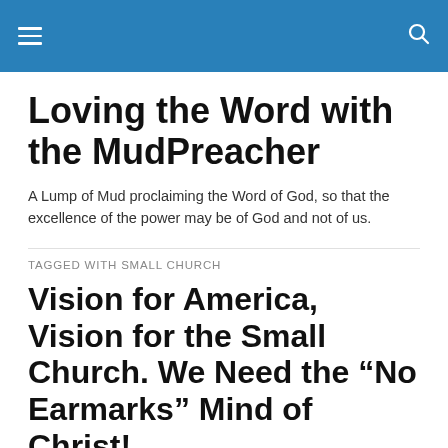Loving the Word with the MudPreacher
Loving the Word with the MudPreacher
A Lump of Mud proclaiming the Word of God, so that the excellence of the power may be of God and not of us.
TAGGED WITH SMALL CHURCH
Vision for America, Vision for the Small Church. We Need the “No Earmarks” Mind of Christ!
Rate This